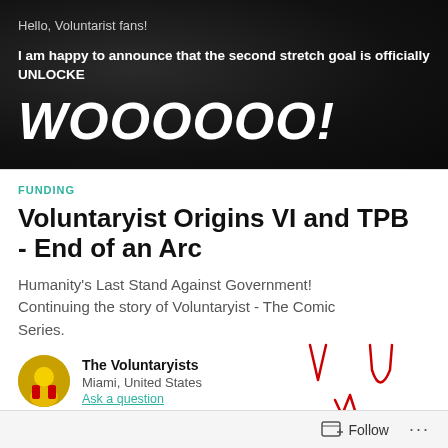Hello, Voluntarist fans!
I am happy to announce that the second stretch goal is officially UNLOCKE
WOOOOOO!
FUNDING
Voluntaryist Origins VI and TPB - End of an Arc
Humanity's Last Stand Against Government! Continuing the story of Voluntaryist - The Comic Series.
The Voluntaryists
Miami, United States
Ask a question
Follow ...